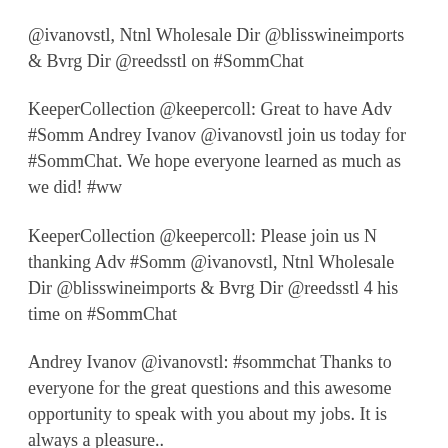@ivanovstl, Ntnl Wholesale Dir @blisswineimports & Bvrg Dir @reedsstl on #SommChat
KeeperCollection @keepercoll: Great to have Adv #Somm Andrey Ivanov @ivanovstl join us today for #SommChat. We hope everyone learned as much as we did! #ww
KeeperCollection @keepercoll: Please join us N thanking Adv #Somm @ivanovstl, Ntnl Wholesale Dir @blisswineimports & Bvrg Dir @reedsstl 4 his time on #SommChat
Andrey Ivanov @ivanovstl: #sommchat Thanks to everyone for the great questions and this awesome opportunity to speak with you about my jobs. It is always a pleasure..